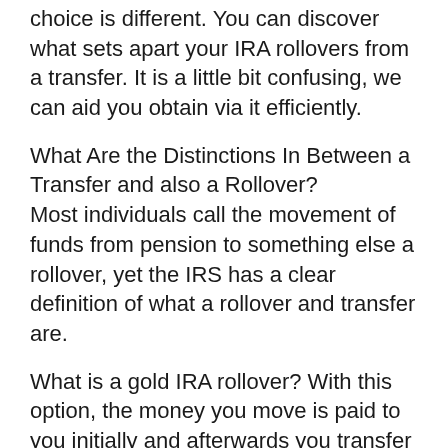choice is different. You can discover what sets apart your IRA rollovers from a transfer. It is a little bit confusing, we can aid you obtain via it efficiently.
What Are the Distinctions In Between a Transfer and also a Rollover?
Most individuals call the movement of funds from pension to something else a rollover, yet the IRS has a clear definition of what a rollover and transfer are.
What is a gold IRA rollover? With this option, the money you move is paid to you initially and afterwards you transfer it into an additional pension. With a funds transfer, the original Individual retirement account custodian moves the funds right into a Gold